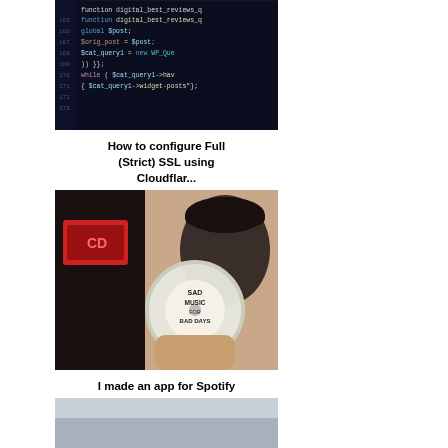[Figure (screenshot): Code editor screenshot showing PHP code with syntax highlighting on dark background]
How to configure Full (Strict) SSL using Cloudflar...
[Figure (photo): Person holding a CD labeled 'SAD MUSIC FOR BAD DAYS' in front of a record player]
I made an app for Spotify FOMO addicts
[Figure (photo): Partial image of a grey/silver object, cut off at bottom of page]